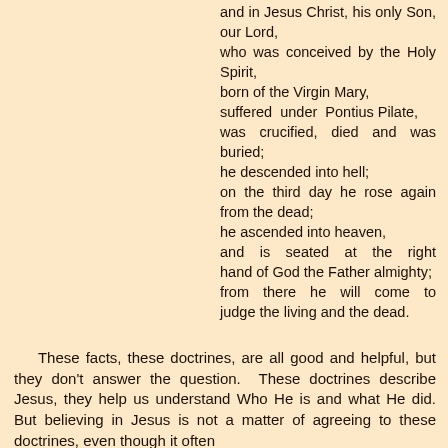and in Jesus Christ, his only Son, our Lord, who was conceived by the Holy Spirit, born of the Virgin Mary, suffered under Pontius Pilate, was crucified, died and was buried; he descended into hell; on the third day he rose again from the dead; he ascended into heaven, and is seated at the right hand of God the Father almighty; from there he will come to judge the living and the dead.
These facts, these doctrines, are all good and helpful, but they don't answer the question. These doctrines describe Jesus, they help us understand Who He is and what He did. But believing in Jesus is not a matter of agreeing to these doctrines, even though it often includes that...